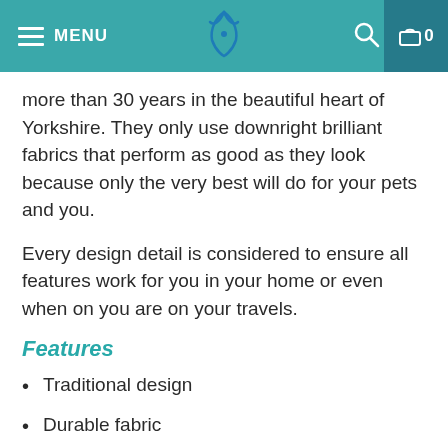MENU — [logo] — [search icon] — 0
more than 30 years in the beautiful heart of Yorkshire. They only use downright brilliant fabrics that perform as good as they look because only the very best will do for your pets and you.
Every design detail is considered to ensure all features work for you in your home or even when on you are on your travels.
Features
Traditional design
Durable fabric
Deep filled fibre shoulders
Drop down front for easy access